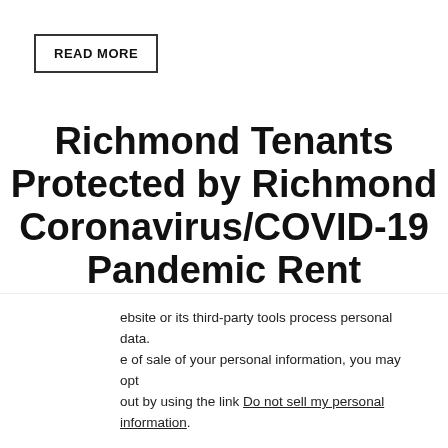READ MORE
Richmond Tenants Protected by Richmond Coronavirus/COVID-19 Pandemic Rent Increase Moratorium Until September 30, 2020
ebsite or its third-party tools process personal data. e of sale of your personal information, you may opt out by using the link Do not sell my personal information.